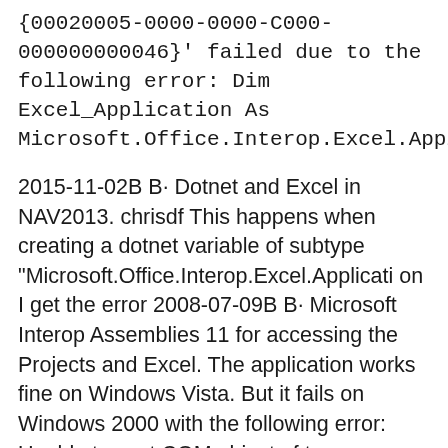{00020005-0000-0000-C000-000000000046}' failed due to the following error: Dim Excel_Application As Microsoft.Office.Interop.Excel.Application
2015-11-02B B· Dotnet and Excel in NAV2013. chrisdf This happens when creating a dotnet variable of subtype "Microsoft.Office.Interop.Excel.Application I get the error 2008-07-09B B· Microsoft Interop Assemblies 11 for accessing the Projects and Excel. The application works fine on Windows Vista. But it fails on Windows 2000 with the following error: Unable to cast COM object of type